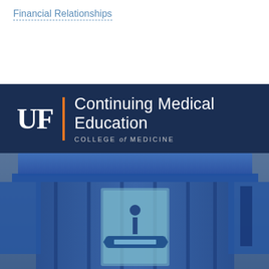Financial Relationships
[Figure (logo): UF Continuing Medical Education College of Medicine logo on dark navy background]
[Figure (photo): Photo of a blue-lit building structure/podium with a Learn banner/sign visible in the center]